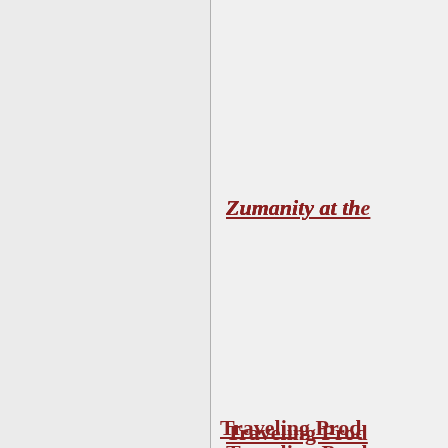Zumanity at the
Traveling Prod
productions thro Baltimore, Char Hartford, Portla
CitiMortgage